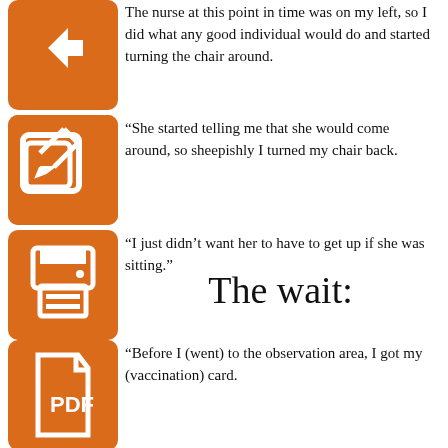The nurse at this point in time was on my left, so I did what any good individual would do and started turning the chair around.
[Figure (illustration): Orange square button with white left-arrow icon]
“She started telling me that she would come around, so sheepishly I turned my chair back.
[Figure (illustration): Orange square button with white edit/pencil icon]
“I just didn’t want her to have to get up if she was sitting.”
[Figure (illustration): Orange square button with white printer icon]
The wait:
“Before I (went) to the observation area, I got my (vaccination) card.
[Figure (illustration): Orange square button with white PDF/document icon]
“I heard an exclamation behind me.
‘‘Would you look at that?’ I hear a man say.
“I turned around to see what he was looking at. It was a TV showing random deep-sea water critters. Everyone was entranced.
“Then we all ‘ooohed’ and ‘ahhhed’ — it was more of just the old man and his wife and me silently ‘ooohing’ and ‘ahhhing.’
“After my seven minutes of observation, I got up and made a break for it.”